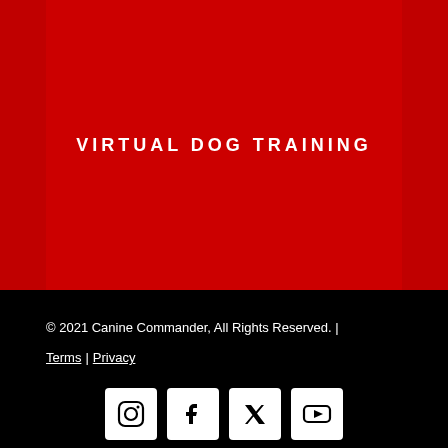[Figure (other): Red background section for virtual dog training website]
VIRTUAL DOG TRAINING
© 2021 Canine Commander, All Rights Reserved. |
Terms | Privacy
[Figure (other): Row of social media icons (Instagram, Facebook, and others) on black background]